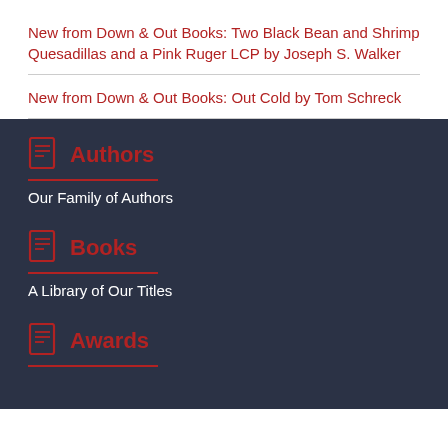New from Down & Out Books: Two Black Bean and Shrimp Quesadillas and a Pink Ruger LCP by Joseph S. Walker
New from Down & Out Books: Out Cold by Tom Schreck
Authors
Our Family of Authors
Books
A Library of Our Titles
Awards